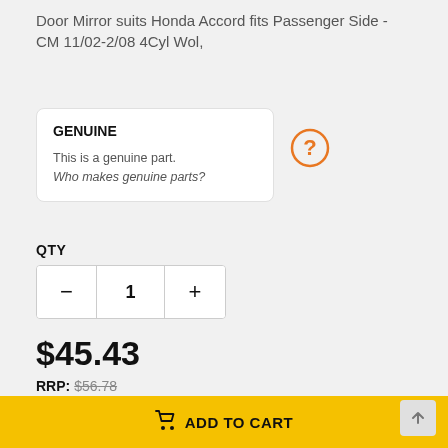Door Mirror suits Honda Accord fits Passenger Side - CM 11/02-2/08 4Cyl Wol,
GENUINE
This is a genuine part.
Who makes genuine parts?
QTY
- 1 +
$45.43
RRP: $56.78
Or $9.09 today and spread the rest with openpay
Learn more
ADD TO CART